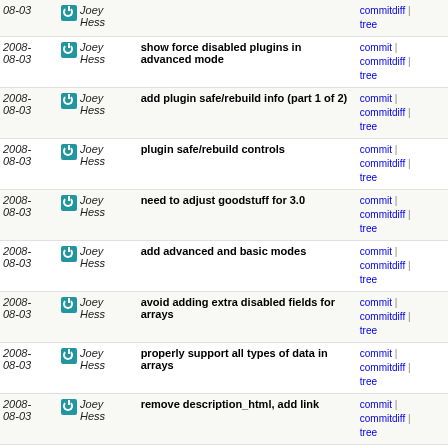| Date | Author | Message | Links |
| --- | --- | --- | --- |
| 2008-08-03 | Joey Hess | show force disabled plugins in advanced mode | commit | commitdiff | tree |
| 2008-08-03 | Joey Hess | add plugin safe/rebuild info (part 1 of 2) | commit | commitdiff | tree |
| 2008-08-03 | Joey Hess | plugin safe/rebuild controls | commit | commitdiff | tree |
| 2008-08-03 | Joey Hess | need to adjust goodstuff for 3.0 | commit | commitdiff | tree |
| 2008-08-03 | Joey Hess | add advanced and basic modes | commit | commitdiff | tree |
| 2008-08-03 | Joey Hess | avoid adding extra disabled fields for arrays | commit | commitdiff | tree |
| 2008-08-03 | Joey Hess | properly support all types of data in arrays | commit | commitdiff | tree |
| 2008-08-03 | Joey Hess | remove description_html, add link | commit | commitdiff | tree |
| 2008-08-03 | Joey Hess | Merge branch 'master' of ssh://git.ikiwiki.info/srv... | commit | commitdiff | tree |
| 2008-08-03 | Joey Hess | Merge branch 'master' of ssh://git.ikiwiki.info/srv... | commit | commitdiff | tree |
| 2008-08-03 | Joey Hess | Bail if both srcdir and repository are not specified. | commit | commitdiff | tree |
| 2008-08-03 | Joey Hess | note that 2.60 is needed for auto setup | commit | commitdiff | tree |